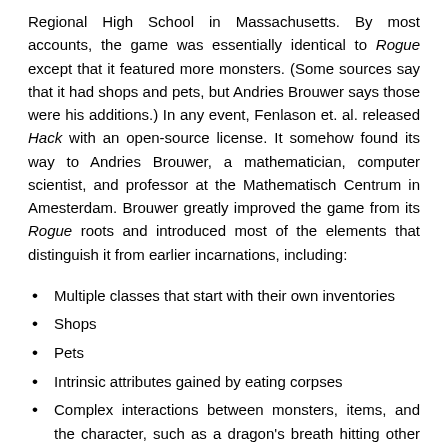Regional High School in Massachusetts. By most accounts, the game was essentially identical to Rogue except that it featured more monsters. (Some sources say that it had shops and pets, but Andries Brouwer says those were his additions.) In any event, Fenlason et. al. released Hack with an open-source license. It somehow found its way to Andries Brouwer, a mathematician, computer scientist, and professor at the Mathematisch Centrum in Amesterdam. Brouwer greatly improved the game from its Rogue roots and introduced most of the elements that distinguish it from earlier incarnations, including:
Multiple classes that start with their own inventories
Shops
Pets
Intrinsic attributes gained by eating corpses
Complex interactions between monsters, items, and the character, such as a dragon's breath hitting other enemies in your path or destroying